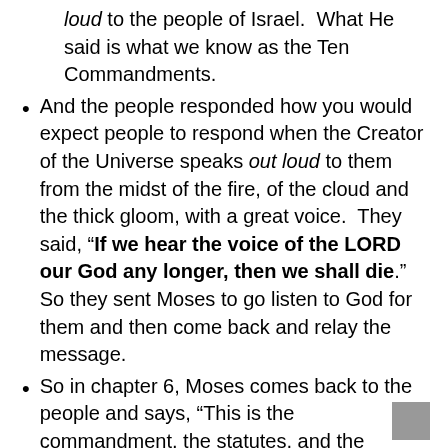loud to the people of Israel.  What He said is what we know as the Ten Commandments.
And the people responded how you would expect people to respond when the Creator of the Universe speaks out loud to them from the midst of the fire, of the cloud and the thick gloom, with a great voice.  They said, “If we hear the voice of the LORD our God any longer, then we shall die.”  So they sent Moses to go listen to God for them and then come back and relay the message.
So in chapter 6, Moses comes back to the people and says, “This is the commandment, the statutes, and the judgments which the